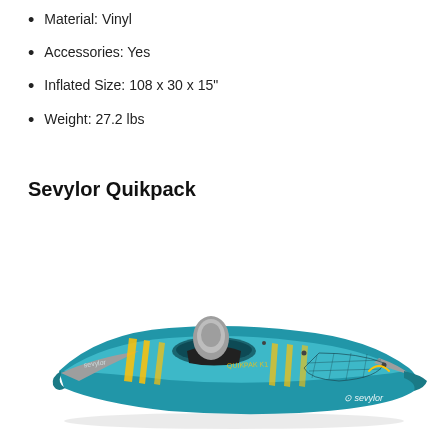Material: Vinyl
Accessories: Yes
Inflated Size: 108 x 30 x 15"
Weight: 27.2 lbs
Sevylor Quikpack
[Figure (photo): Sevylor Quikpack inflatable kayak, blue and gray with yellow accents, single seat with gray inflatable backrest, shown from side angle on white background with Sevylor logo visible]